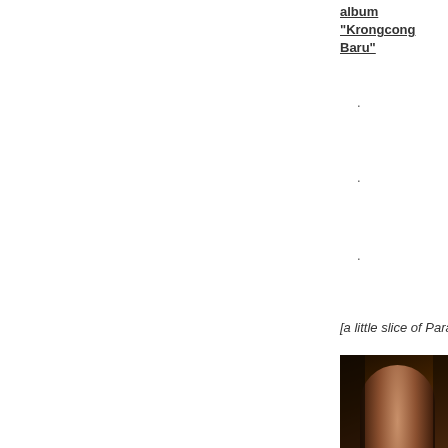album “Krongcong Baru”
.
.
.
[a little slice of Paradise - n
[Figure (photo): A woman in a red top leaning against a wooden door frame, smiling, photographed in warm dim lighting.]
.
.
.
.
12 “Paraise” by (4:00) Jea